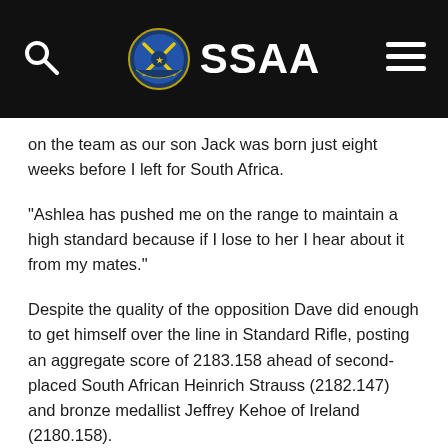SSAA
on the team as our son Jack was born just eight weeks before I left for South Africa.
“Ashlea has pushed me on the range to maintain a high standard because if I lose to her I hear about it from my mates.”
Despite the quality of the opposition Dave did enough to get himself over the line in Standard Rifle, posting an aggregate score of 2183.158 ahead of second-placed South African Heinrich Strauss (2182.147) and bronze medallist Jeffrey Kehoe of Ireland (2180.158).
Other members of the SSAA team also won individual medals including Sharon Brooker from Queensland who